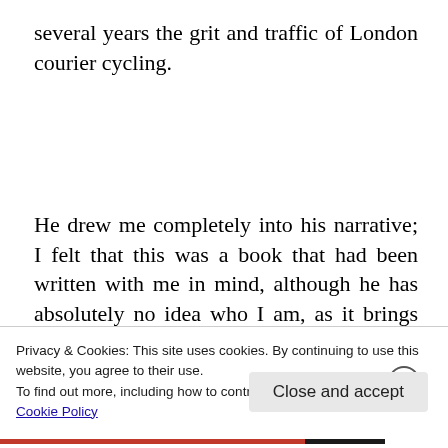several years the grit and traffic of London courier cycling.
He drew me completely into his narrative; I felt that this was a book that had been written with me in mind, although he has absolutely no idea who I am, as it brings together so many of my
Privacy & Cookies: This site uses cookies. By continuing to use this website, you agree to their use.
To find out more, including how to control cookies, see here:
Cookie Policy
Close and accept